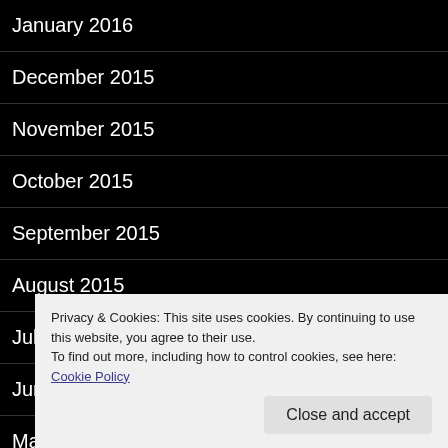January 2016
December 2015
November 2015
October 2015
September 2015
August 2015
July 2015
June 2015
May 2015
Privacy & Cookies: This site uses cookies. By continuing to use this website, you agree to their use.
To find out more, including how to control cookies, see here: Cookie Policy
Close and accept